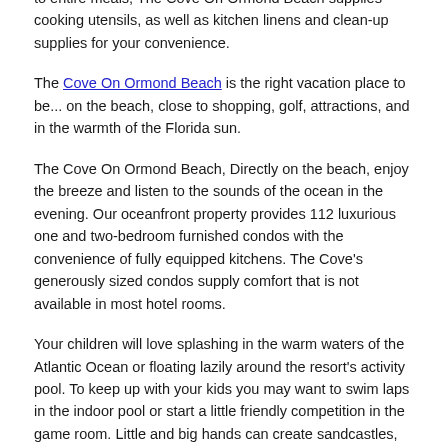furnished with care to provide for all of your needs. Complete with full kitchens for preparation of quick snacks to entire meals, The Cove On Ormond Beach supplies cooking utensils, as well as kitchen linens and clean-up supplies for your convenience.
The Cove On Ormond Beach is the right vacation place to be... on the beach, close to shopping, golf, attractions, and in the warmth of the Florida sun.
The Cove On Ormond Beach, Directly on the beach, enjoy the breeze and listen to the sounds of the ocean in the evening. Our oceanfront property provides 112 luxurious one and two-bedroom furnished condos with the convenience of fully equipped kitchens. The Cove's generously sized condos supply comfort that is not available in most hotel rooms.
Your children will love splashing in the warm waters of the Atlantic Ocean or floating lazily around the resort's activity pool. To keep up with your kids you may want to swim laps in the indoor pool or start a little friendly competition in the game room. Little and big hands can create sandcastles, fly kites, or enjoy a game of beach volleyball on our over 150 feet of private beach.